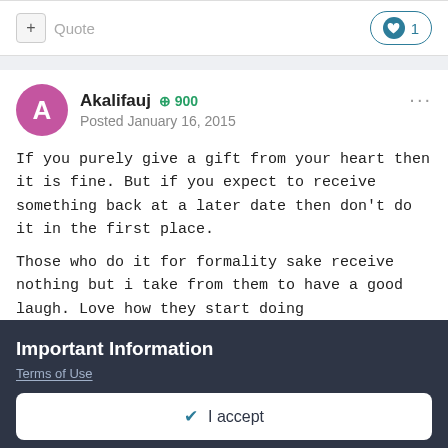+ Quote  ❤ 1
Akalifauj +900 Posted January 16, 2015
If you purely give a gift from your heart then it is fine. But if you expect to receive something back at a later date then don't do it in the first place.

Those who do it for formality sake receive nothing but i take from them to have a good laugh. Love how they start doing nindiya....lol
Important Information
Terms of Use
✔ I accept